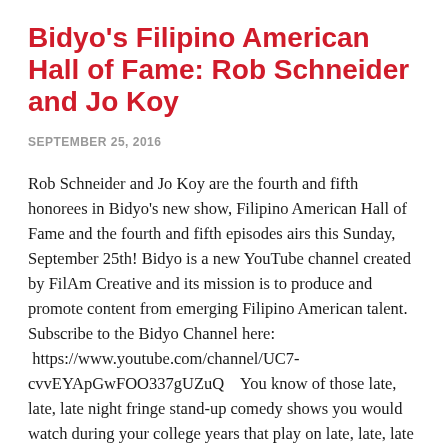Bidyo's Filipino American Hall of Fame: Rob Schneider and Jo Koy
SEPTEMBER 25, 2016
Rob Schneider and Jo Koy are the fourth and fifth honorees in Bidyo's new show, Filipino American Hall of Fame and the fourth and fifth episodes airs this Sunday, September 25th! Bidyo is a new YouTube channel created by FilAm Creative and its mission is to produce and promote content from emerging Filipino American talent.  Subscribe to the Bidyo Channel here:
 https://www.youtube.com/channel/UC7-cvvEYApGwFOO337gUZuQ    You know of those late, late, late night fringe stand-up comedy shows you would watch during your college years that play on late, late, late night television after 2am in the